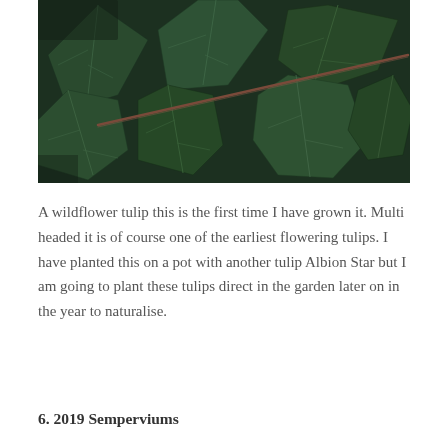[Figure (photo): Close-up photograph of dark green ivy leaves with visible veins, and a reddish-brown stem crossing diagonally across the image.]
A wildflower tulip this is the first time I have grown it. Multi headed it is of course one of the earliest flowering tulips. I have planted this on a pot with another tulip Albion Star but I am going to plant these tulips direct in the garden later on in the year to naturalise.
6. 2019 Semperviums